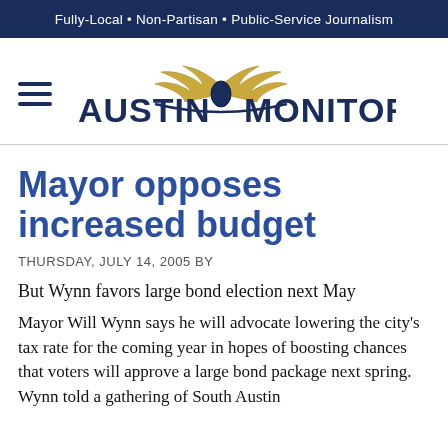Fully-Local · Non-Partisan · Public-Service Journalism
[Figure (logo): Austin Monitor logo with winged emblem and hamburger menu icon]
Mayor opposes increased budget
THURSDAY, JULY 14, 2005 BY
But Wynn favors large bond election next May
Mayor Will Wynn says he will advocate lowering the city's tax rate for the coming year in hopes of boosting chances that voters will approve a large bond package next spring. Wynn told a gathering of South Austin